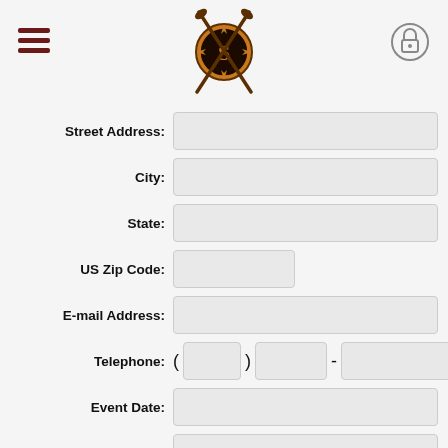[Figure (logo): Golf club logo with crossed golf clubs and compass/shield emblem with letter S, circular orange/brown design]
Street Address:
City:
State:
US Zip Code:
E-mail Address:
Telephone:
Event Date:
Expected Guests:
Comments: